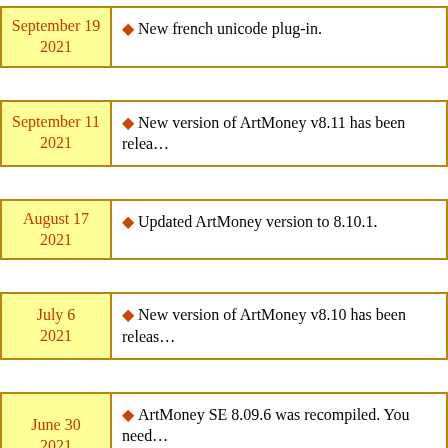| Date | News |
| --- | --- |
| September 19 2021 | New french unicode plug-in. |
| September 11 2021 | New version of ArtMoney v8.11 has been relea... |
| August 17 2021 | Updated ArtMoney version to 8.10.1. |
| July 6 2021 | New version of ArtMoney v8.10 has been releas... |
| June 30 2021 | ArtMoney SE 8.09.6 was recompiled. You need... errors. |
|  |  |